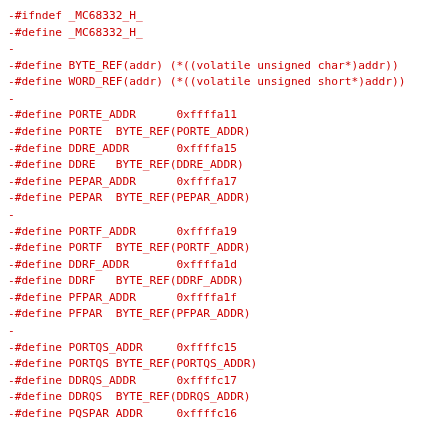-#ifndef _MC68332_H_
-#define _MC68332_H_
-
-#define BYTE_REF(addr) (*((volatile unsigned char*)addr))
-#define WORD_REF(addr) (*((volatile unsigned short*)addr))
-
-#define PORTE_ADDR      0xffffa11
-#define PORTE  BYTE_REF(PORTE_ADDR)
-#define DDRE_ADDR       0xffffa15
-#define DDRE   BYTE_REF(DDRE_ADDR)
-#define PEPAR_ADDR      0xffffa17
-#define PEPAR  BYTE_REF(PEPAR_ADDR)
-
-#define PORTF_ADDR      0xffffa19
-#define PORTF  BYTE_REF(PORTF_ADDR)
-#define DDRF_ADDR       0xffffa1d
-#define DDRF   BYTE_REF(DDRF_ADDR)
-#define PFPAR_ADDR      0xffffa1f
-#define PFPAR  BYTE_REF(PFPAR_ADDR)
-
-#define PORTQS_ADDR     0xffffc15
-#define PORTQS BYTE_REF(PORTQS_ADDR)
-#define DDRQS_ADDR      0xffffc17
-#define DDRQS  BYTE_REF(DDRQS_ADDR)
-#define PQSPAR ADDR     0xffffc16